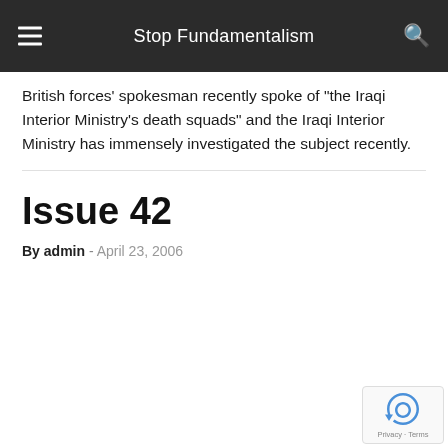Stop Fundamentalism
British forces' spokesman recently spoke of "the Iraqi Interior Ministry's death squads" and the Iraqi Interior Ministry has immensely investigated the subject recently.
Issue 42
By admin - April 23, 2006